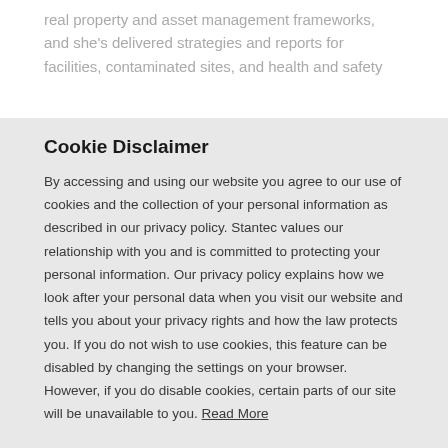real property and asset management frameworks, and she's delivered strategies and reports for facilities, contaminated sites, and health and safety
Cookie Disclaimer
By accessing and using our website you agree to our use of cookies and the collection of your personal information as described in our privacy policy. Stantec values our relationship with you and is committed to protecting your personal information. Our privacy policy explains how we look after your personal data when you visit our website and tells you about your privacy rights and how the law protects you. If you do not wish to use cookies, this feature can be disabled by changing the settings on your browser. However, if you do disable cookies, certain parts of our site will be unavailable to you. Read More
OK, I GOT IT ›